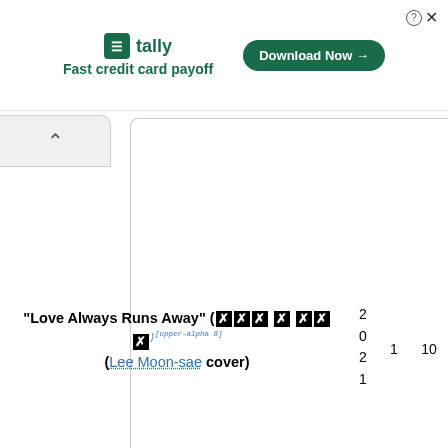[Figure (screenshot): Tally app advertisement banner with logo, tagline 'Fast credit card payoff', and 'Download Now' button]
| Song | Year |  |  |
| --- | --- | --- | --- |
| "Love Always Runs Away" (🀄 🀄 🀄 🀄 🀄 🀄 🀄) [upper-alpha 8] (Lee Moon-sae cover) | 2021 | 1 | 10 |